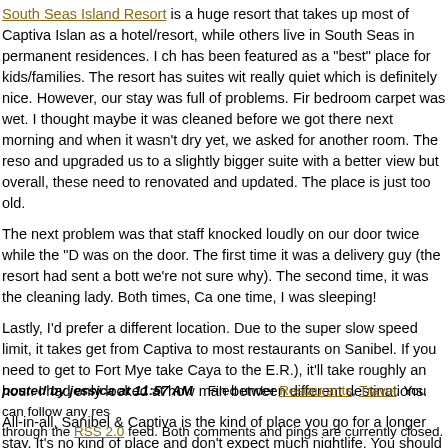South Seas Island Resort is a huge resort that takes up most of Captiva Island as a hotel/resort, while others live in South Seas in permanent residences. I ch has been featured as a "best" place for kids/families. The resort has suites with really quiet which is definitely nice. However, our stay was full of problems. Fir bedroom carpet was wet. I thought maybe it was cleaned before we got there next morning and when it wasn't dry yet, we asked for another room. The reso and upgraded us to a slightly bigger suite with a better view but overall, these need to renovated and updated. The place is just too old.
The next problem was that staff knocked loudly on our door twice while the "D was on the door. The first time it was a delivery guy (the resort had sent a bott we're not sure why). The second time, it was the cleaning lady. Both times, Ca one time, I was sleeping!
Lastly, I'd prefer a different location. Due to the super slow speed limit, it takes get from Captiva to most restaurants on Sanibel. If you need to get to Fort Mye take Caya to the E.R.), it'll take roughly an hour. I had only looked at how man between different destinations.
All-in-all, Sanibel & Captiva is the kind of place you go for a longer stay. It's no kind of place and don't expect much nightlife. You should settle in and relax. G kitchen and prepare some of your own food with the great seafood available.
posted by jessica at 11:57 AM   Filed under Restaurants, Travel. You can follow any res through the RSS 2.0 feed. Both comments and pings are currently closed.